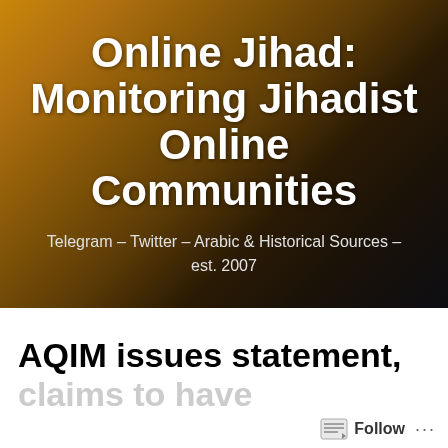[Figure (screenshot): Banner image with golden/dark gradient background showing the title 'Online Jihad: Monitoring Jihadist Online Communities' in large white bold text, with subtitle 'Telegram – Twitter – Arabic & Historical Sources – est. 2007' in lighter white text below.]
Online Jihad: Monitoring Jihadist Online Communities
Telegram – Twitter – Arabic & Historical Sources – est. 2007
AQIM issues statement, claims to have...